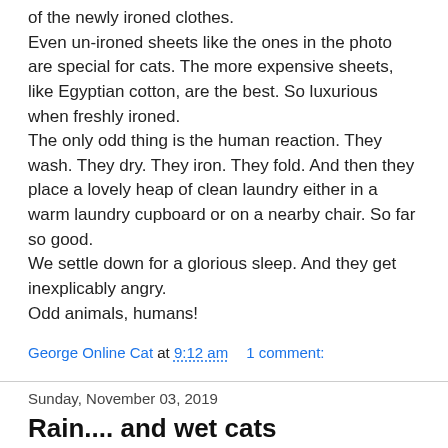of the newly ironed clothes.
Even un-ironed sheets like the ones in the photo are special for cats. The more expensive sheets, like Egyptian cotton, are the best. So luxurious when freshly ironed.
The only odd thing is the human reaction. They wash. They dry. They iron. They fold. And then they place a lovely heap of clean laundry either in a warm laundry cupboard or on a nearby chair. So far so good.
We settle down for a glorious sleep. And they get inexplicably angry.
Odd animals, humans!
George Online Cat at 9:12 am    1 comment:
Sunday, November 03, 2019
Rain.... and wet cats